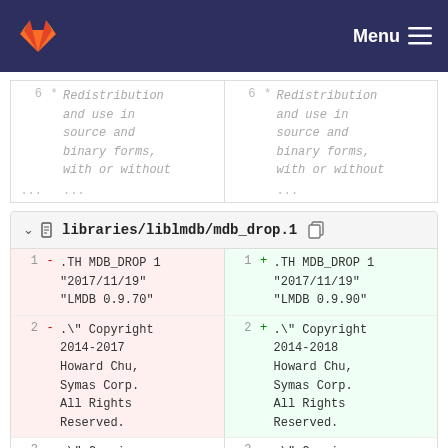Menu
[Figure (screenshot): GitLab diff view showing truncated file diff with line 6 on both sides: '* Redistribution and use in source and binary forms, with or without' followed by ellipsis rows]
libraries/liblmdb/mdb_drop.1
| Line- | Marker- | Code-Left | Line+ | Marker+ | Code-Right |
| --- | --- | --- | --- | --- | --- |
| 1 | - | .TH MDB_DROP 1 "2017/11/19" "LMDB 0.9.70" | 1 | + | .TH MDB_DROP 1 "2017/11/19" "LMDB 0.9.90" |
| 2 | - | .\" Copyright 2014-2017 Howard Chu, Symas Corp. All Rights Reserved. | 2 | + | .\" Copyright 2014-2018 Howard Chu, Symas Corp. All Rights Reserved. |
| 3 |  | .\" Copying | 3 |  | .\" Copying |